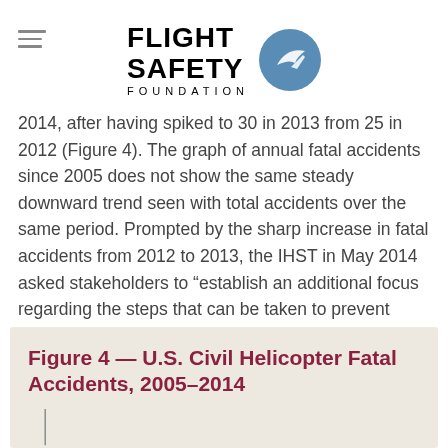FLIGHT SAFETY FOUNDATION
2014, after having spiked to 30 in 2013 from 25 in 2012 (Figure 4). The graph of annual fatal accidents since 2005 does not show the same steady downward trend seen with total accidents over the same period. Prompted by the sharp increase in fatal accidents from 2012 to 2013, the IHST in May 2014 asked stakeholders to “establish an additional focus regarding the steps that can be taken to prevent fatalities in helicopter accidents,” according to an IHST press release.
Figure 4 — U.S. Civil Helicopter Fatal Accidents, 2005–2014
[Figure (bar-chart): Bar chart partially visible at bottom of page showing fatal accident data]